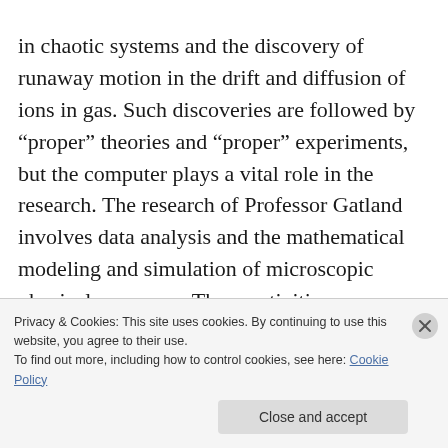in chaotic systems and the discovery of runaway motion in the drift and diffusion of ions in gas. Such discoveries are followed by “proper” theories and “proper” experiments, but the computer plays a vital role in the research. The research of Professor Gatland involves data analysis and the mathematical modeling and simulation of microscopic physical processes. These activities encompass both research and instruction

In this lecture we recall the definitions of
Privacy & Cookies: This site uses cookies. By continuing to use this website, you agree to their use.
To find out more, including how to control cookies, see here: Cookie Policy